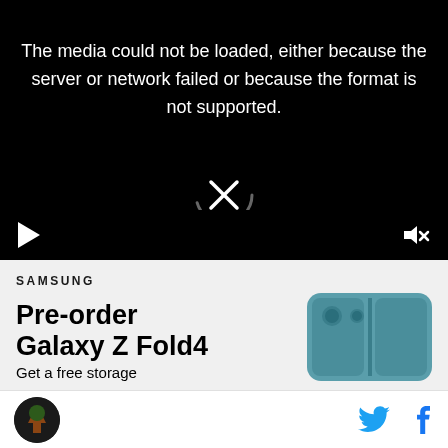[Figure (screenshot): Black video player with error message 'The media could not be loaded, either because the server or network failed or because the format is not supported.' with a spinning loader icon, play button and mute button in controls bar]
SAMSUNG
Pre-order Galaxy Z Fold4
Get a free storage
[Figure (photo): Samsung Galaxy Z Fold4 phone in blue/teal color]
Logo icon, Twitter icon, Facebook icon